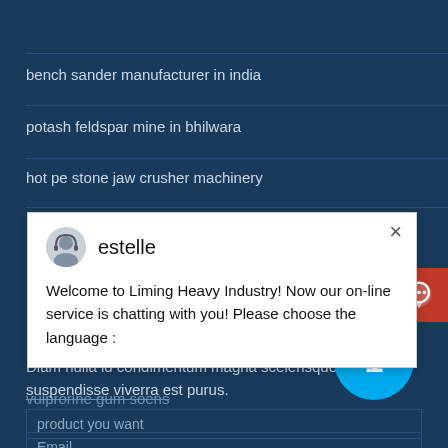bench sander manufacturer in india
potash feldspar mine in bhilwara
hot pe stone jaw crusher machinery
[Figure (screenshot): Chat popup from Liming Heavy Industry with avatar of 'estelle' and welcome message: 'Welcome to Liming Heavy Industry! Now our on-line service is chatting with you! Please choose the language']
vulrorine gum soens (partially visible, struck through)
Diam nulla id condimentum magna scelerisque ac suspendisse viverra est purus.
product you want
Email